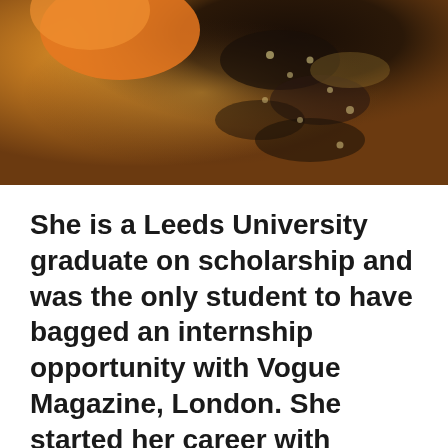[Figure (photo): Partial photo of a woman wearing an orange top and dark floral/leaf patterned garment, cropped to show upper body area]
She is a Leeds University graduate on scholarship and was the only student to have bagged an internship opportunity with Vogue Magazine, London. She started her career with aplomb and there was no looking back post that.
Having worked across the world's best advertising